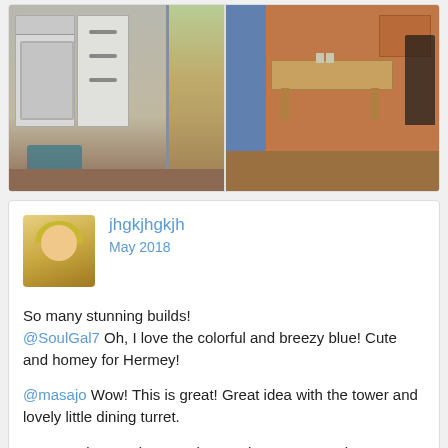[Figure (screenshot): Two side-by-side screenshots of a Sims-style game: left shows a kitchen with white stove and drawers, colorful rug, and a doorway; right shows a dining area with wooden table and brown walls.]
jhgkjhgkjh
May 2018

So many stunning builds!
@SoulGal7 Oh, I love the colorful and breezy blue! Cute and homey for Hermey!

@masajo Wow! This is great! Great idea with the tower and lovely little dining turret.

So many impressing creations - what a great variety!
masajo
May 2018